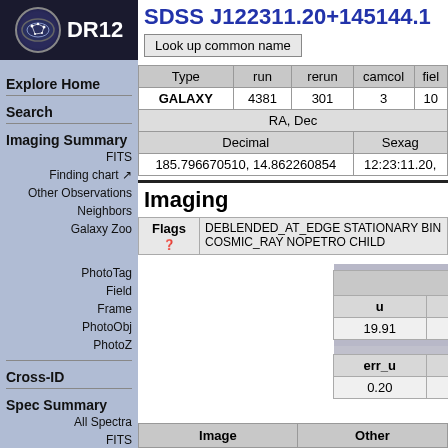[Figure (logo): SDSS DR12 logo with constellation oval icon and DR12 text]
SDSS J122311.20+145144.1
Look up common name
| Type | run | rerun | camcol | fiel |
| --- | --- | --- | --- | --- |
| GALAXY | 4381 | 301 | 3 | 10 |
| RA, Dec |  |  |  |  |
| Decimal | Sexag |
| 185.796670510, 14.862260854 | 12:23:11.20, |
Imaging
| Flags |
| --- |
| DEBLENDED_AT_EDGE STATIONARY BIN... COSMIC_RAY NOPETRO CHILD |
PhotoTag
Field
Frame
PhotoObj
PhotoZ
| u |
| --- |
| 19.91 |
| err_u |
| --- |
| 0.20 |
| Image | Other |
| --- | --- |